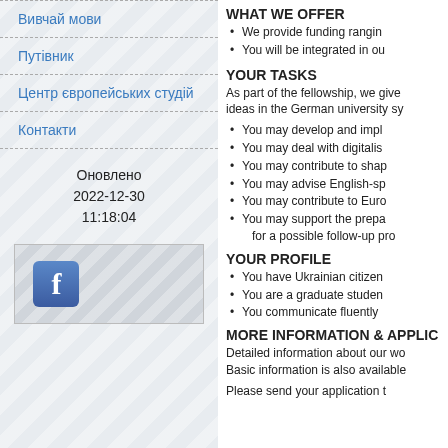Вивчай мови
Путівник
Центр європейських студій
Контакти
Оновлено
2022-12-30
11:18:04
[Figure (logo): Facebook logo icon in a blue square button]
WHAT WE OFFER
We provide funding rangin
You will be integrated in ou
YOUR TASKS
As part of the fellowship, we give ideas in the German university sy
You may develop and impl
You may deal with digitalis
You may contribute to shap
You may advise English-sp
You may contribute to Euro
You may support the prepa for a possible follow-up pro
YOUR PROFILE
You have Ukrainian citizen
You are a graduate studen
You communicate fluently
MORE INFORMATION & APPLIC
Detailed information about our wo Basic information is also available
Please send your application t